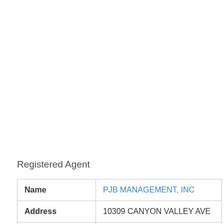Registered Agent
|  |  |
| --- | --- |
| Name | PJB MANAGEMENT, INC |
| Address | 10309 CANYON VALLEY AVE |
|  |  |